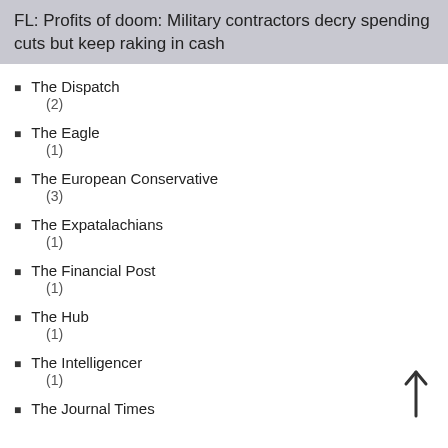FL: Profits of doom: Military contractors decry spending cuts but keep raking in cash
The Dispatch
(2)
The Eagle
(1)
The European Conservative
(3)
The Expatalachians
(1)
The Financial Post
(1)
The Hub
(1)
The Intelligencer
(1)
The Journal Times